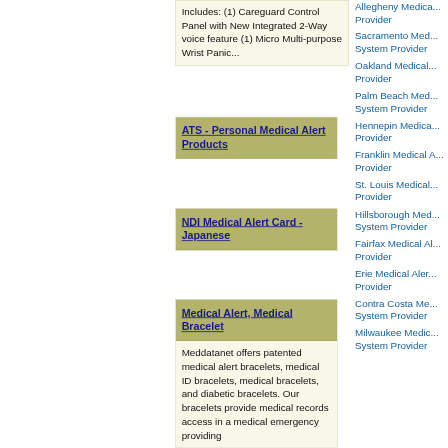Includes: (1) Careguard Control Panel with New Integrated 2-Way voice feature (1) Micro Multi-purpose Wrist Panic...
ATS - Personal Medical Alert Products
NDI Medical Alert Card - Japanese
Medical Alert, Medical Bracelet
Meddatanet offers patented medical alert bracelets, medical ID bracelets, medical bracelets, and diabetic bracelets. Our bracelets provide medical records access in a medical emergency providing
Allegheny Medica... Provider
Sacramento Med... System Provider
Oakland Medical... Provider
Palm Beach Med... System Provider
Hennepin Medica... Provider
Franklin Medical A... Provider
St. Louis Medical... Provider
Hillsborough Med... System Provider
Fairfax Medical Al... Provider
Erie Medical Aler... Provider
Contra Costa Me... System Provider
Milwaukee Medic... System Provider